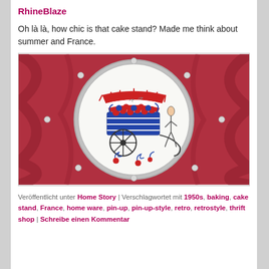RhineBlaze
Oh là là, how chic is that cake stand? Made me think about summer and France.
[Figure (photo): A round ceramic cake stand plate with an illustration of a French flower cart with red and blue flowers, a striped awning, a wheel, and a woman figure, set on a red velvet background with metal studs around the rim.]
Veröffentlicht unter Home Story | Verschlagwortet mit 1950s, baking, cake stand, France, home ware, pin-up, pin-up-style, retro, retrostyle, thrift shop | Schreibe einen Kommentar